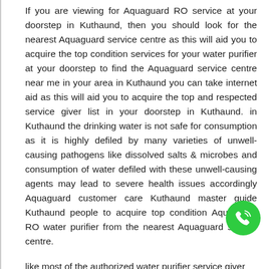If you are viewing for Aquaguard RO service at your doorstep in Kuthaund, then you should look for the nearest Aquaguard service centre as this will aid you to acquire the top condition services for your water purifier at your doorstep to find the Aquaguard service centre near me in your area in Kuthaund you can take internet aid as this will aid you to acquire the top and respected service giver list in your doorstep in Kuthaund. in Kuthaund the drinking water is not safe for consumption as it is highly defiled by many varieties of unwell-causing pathogens like dissolved salts & microbes and consumption of water defiled with these unwell-causing agents may lead to severe health issues accordingly Aquaguard customer care Kuthaund master guide Kuthaund people to acquire top condition Aquaguard RO water purifier from the nearest Aquaguard service centre.
like most of the authorized water purifier service giver